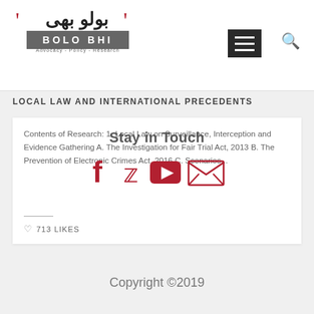[Figure (logo): Bolo Bhi logo with Urdu text above, dark grey rectangle with 'BOLO BHI' in white bold letters, tagline 'Advocacy - Policy - Research' below, red quotation marks on sides]
LOCAL LAW AND INTERNATIONAL PRECEDENTS
Contents of Research: 1. Local Law on Surveillance, Interception and Evidence Gathering A. The Investigation for Fair Trial Act, 2013 B. The Prevention of Electronic Crimes Act, 2016 C. Scenarios...
Stay in Touch
[Figure (infographic): Social media icons: Facebook (f), Twitter (bird), YouTube (play button), Email (envelope) — all in dark red/crimson color]
713 LIKES
Copyright ©2019